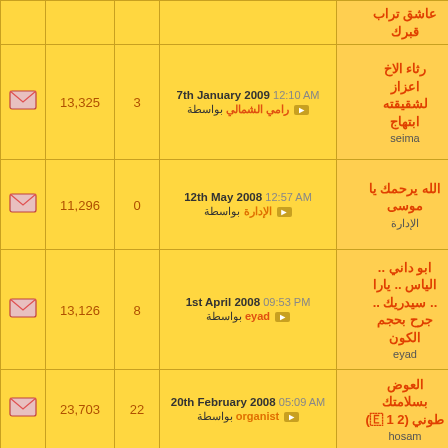| icon | views | replies | last_post | title | icon2 |
| --- | --- | --- | --- | --- | --- |
|  |  |  |  | عاشق تراب قبرك |  |
| [envelope] | 13,325 | 3 | 7th January 2009 12:10 AM
بواسطة رامي الشمالي | رثاء الاخ اعزاز لشقيقته ابتهاج
seima | [envelope] |
| [envelope] | 11,296 | 0 | 12th May 2008 12:57 AM
بواسطة الإدارة | الله يرحمك يا موسى
الإدارة | [envelope] |
| [envelope] | 13,126 | 8 | 1st April 2008 09:53 PM
بواسطة eyad | ابو داني .. الياس .. يارا .. سيدريك .. جرح بحجم الكون
eyad | [envelope] |
| [envelope] | 23,703 | 22 | 20th February 2008 05:09 AM
بواسطة organist | العوض بسلامتك طوني (1 2 E)
hosam | [envelope] |